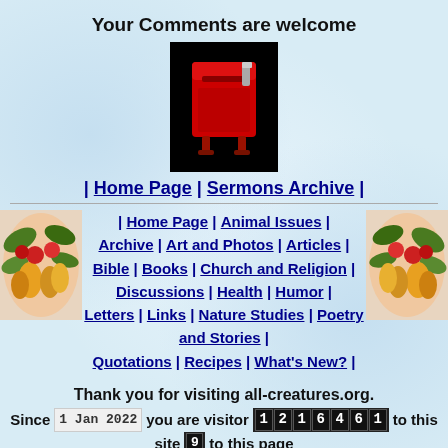Your Comments are welcome
[Figure (illustration): Red mailbox/postbox illustration on black background]
| Home Page | Sermons Archive |
[Figure (illustration): Flower/vegetable arrangement decorative image on left]
| Home Page | Animal Issues | Archive | Art and Photos | Articles | Bible | Books | Church and Religion | Discussions | Health | Humor | Letters | Links | Nature Studies | Poetry and Stories | Quotations | Recipes | What's New? |
[Figure (illustration): Flower/vegetable arrangement decorative image on right]
Thank you for visiting all-creatures.org. Since 1 Jan 2022 you are visitor 1216461 to this site 9 to this page